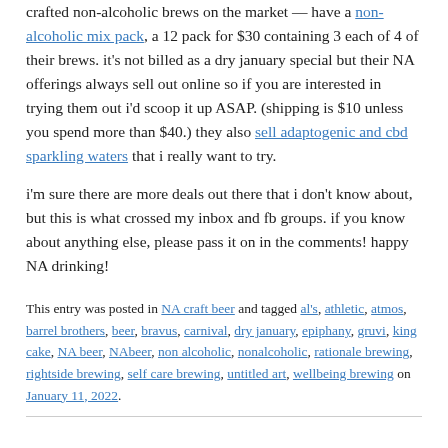crafted non-alcoholic brews on the market — have a non-alcoholic mix pack, a 12 pack for $30 containing 3 each of 4 of their brews. it's not billed as a dry january special but their NA offerings always sell out online so if you are interested in trying them out i'd scoop it up ASAP. (shipping is $10 unless you spend more than $40.) they also sell adaptogenic and cbd sparkling waters that i really want to try.
i'm sure there are more deals out there that i don't know about, but this is what crossed my inbox and fb groups. if you know about anything else, please pass it on in the comments! happy NA drinking!
This entry was posted in NA craft beer and tagged al's, athletic, atmos, barrel brothers, beer, bravus, carnival, dry january, epiphany, gruvi, king cake, NA beer, NAbeer, non alcoholic, nonalcoholic, rationale brewing, rightside brewing, self care brewing, untitled art, wellbeing brewing on January 11, 2022.